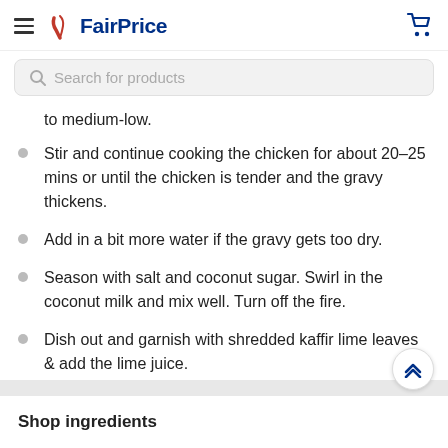FairPrice
Search for products
to medium-low.
Stir and continue cooking the chicken for about 20–25 mins or until the chicken is tender and the gravy thickens.
Add in a bit more water if the gravy gets too dry.
Season with salt and coconut sugar. Swirl in the coconut milk and mix well. Turn off the fire.
Dish out and garnish with shredded kaffir lime leaves & add the lime juice.
Shop ingredients